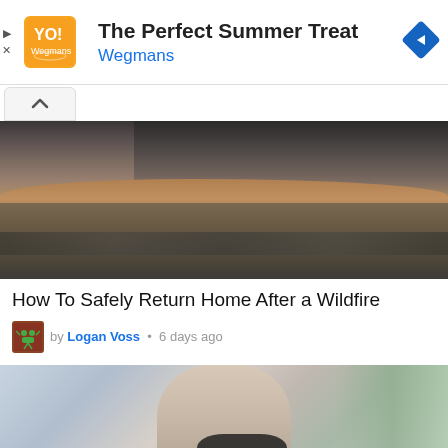[Figure (infographic): Advertisement banner for Wegmans: orange logo tile with stylized design, headline 'The Perfect Summer Treat', brand name 'Wegmans' in blue, blue diamond navigation icon on right, play and close icons on left.]
The Perfect Summer Treat
Wegmans
[Figure (photo): Aerial photo of a suburban neighborhood with a massive wildfire smoke plume rising over hills in the background.]
How To Safely Return Home After a Wildfire
by Logan Voss • 6 days ago
[Figure (photo): Close-up photo of a hand holding car keys, blurred background with greenery.]